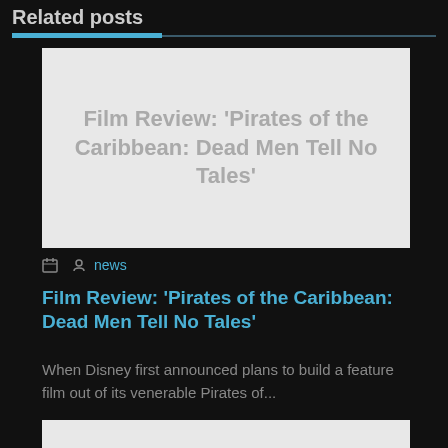Related posts
[Figure (screenshot): Placeholder image for film review article with text 'Film Review: ‘Pirates of the Caribbean: Dead Men Tell No Tales’' on gray background]
news
Film Review: ‘Pirates of the Caribbean: Dead Men Tell No Tales’
When Disney first announced plans to build a feature film out of its venerable Pirates of...
[Figure (screenshot): Partial placeholder image for a second related post article]